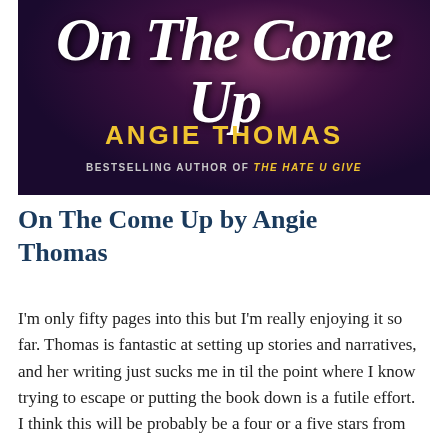[Figure (illustration): Book cover of 'On The Come Up' by Angie Thomas. Dark purple/maroon background with the title in white script lettering at top. Below, 'ANGIE THOMAS' in large yellow bold capital letters, and 'BESTSELLING AUTHOR OF THE HATE U GIVE' in smaller white/yellow text.]
On The Come Up by Angie Thomas
I'm only fifty pages into this but I'm really enjoying it so far. Thomas is fantastic at setting up stories and narratives, and her writing just sucks me in til the point where I know trying to escape or putting the book down is a futile effort. I think this will be probably be a four or a five stars from me.